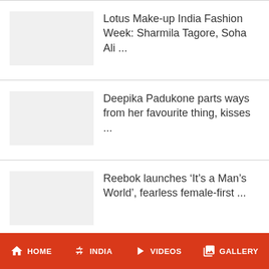Lotus Make-up India Fashion Week: Sharmila Tagore, Soha Ali ...
Deepika Padukone parts ways from her favourite thing, kisses ...
Reebok launches ‘It’s a Man’s World’, fearless female-first ...
Deepika, PV Sindhu, Kiran Mazumdar come together to grace Fe ...
HOME  INDIA  VIDEOS  GALLERY